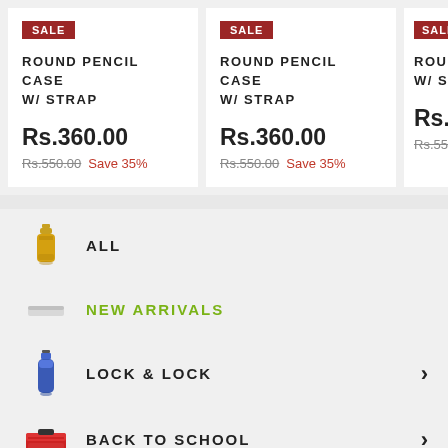SALE
ROUND PENCIL CASE W/ STRAP
Rs.360.00
Rs.550.00 Save 35%
SALE
ROUND PENCIL CASE W/ STRAP
Rs.360.00
Rs.550.00 Save 35%
SALE
ROUN W/ ST
Rs.36
Rs.550
ALL
NEW ARRIVALS
LOCK & LOCK
BACK TO SCHOOL
TABLE WARE